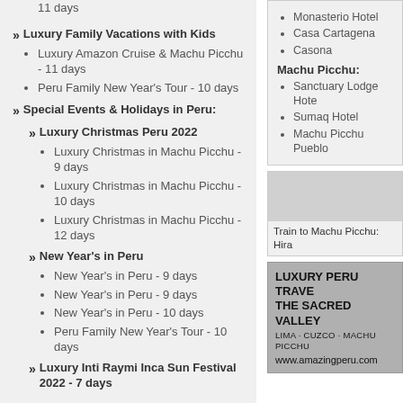11 days
Luxury Family Vacations with Kids
Luxury Amazon Cruise & Machu Picchu - 11 days
Peru Family New Year's Tour - 10 days
Special Events & Holidays in Peru:
Luxury Christmas Peru 2022
Luxury Christmas in Machu Picchu - 9 days
Luxury Christmas in Machu Picchu - 10 days
Luxury Christmas in Machu Picchu - 12 days
New Year's in Peru
New Year's in Peru - 9 days
New Year's in Peru - 9 days
New Year's in Peru - 10 days
Peru Family New Year's Tour - 10 days
Luxury Inti Raymi Inca Sun Festival 2022 - 7 days
Monasterio Hotel
Casa Cartagena
Casona
Machu Picchu:
Sanctuary Lodge Hotel
Sumaq Hotel
Machu Picchu Pueblo
Train to Machu Picchu: Hira
LUXURY PERU TRAVE THE SACRED VALLEY LIMA - CUZCO - MACHU PICCHU www.amazingperu.com